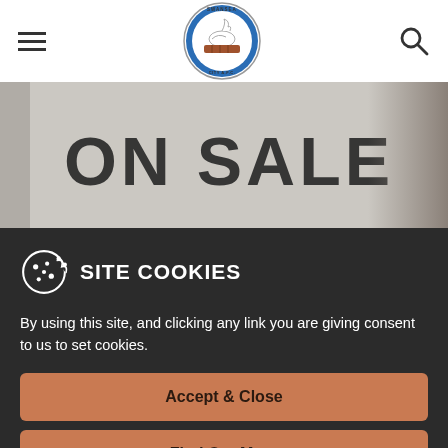Swansea City AFC navigation header with hamburger menu, club logo, and search icon
[Figure (photo): Cropped image showing large bold text 'ON SALE' on a textured white/grey background]
[Figure (screenshot): Partial content strip with blue bar indicator below the hero image]
SITE COOKIES
By using this site, and clicking any link you are giving consent to us to set cookies.
Accept & Close
Find Out More